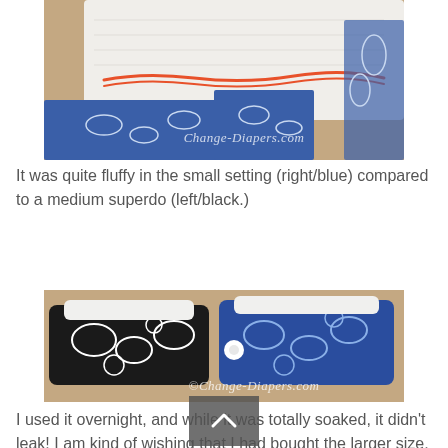[Figure (photo): Close-up photo of white cloth diaper inserts/soakers with orange stitching on top and blue patterned fabric underneath, placed on a tan carpet. Watermark reads Change-Diapers.com]
It was quite fluffy in the small setting (right/blue) compared to a medium superdo (left/black.)
[Figure (photo): Photo of two cloth diapers laid side by side on tan carpet — left one black and white patterned, right one blue patterned — with white soaker inserts visible. Watermark reads ©Change-Diapers.com]
I used it overnight, and while it was totally soaked, it didn't leak! I am kind of wishing that I had bought the larger size, and after